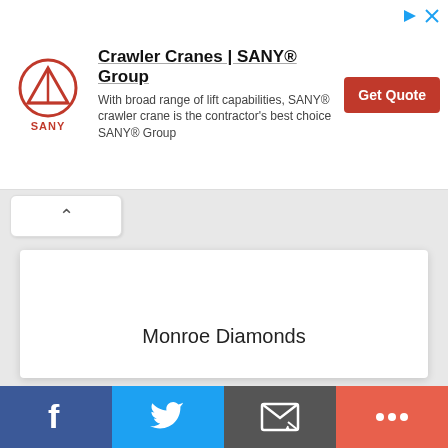[Figure (other): SANY Group advertisement banner with logo, text, and Get Quote button]
[Figure (screenshot): Web page collapse/accordion toggle button with upward caret symbol]
Monroe Diamonds
[Figure (other): Social share bar with Facebook, Twitter, Email, and More buttons]